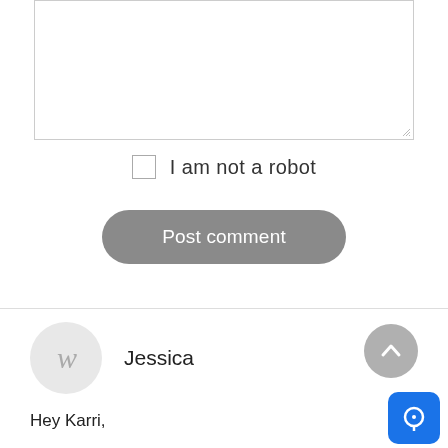[Figure (screenshot): Textarea input box (empty comment form field) with resize handle at bottom-right]
I am not a robot
Post comment
Jessica
Hey Karri,

Great points in this article; thanks for sharing! You mentioned in #2 to look at published works before selecting a wri… you don't mention any outlets or sources to find these